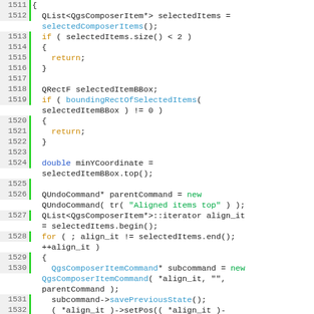[Figure (screenshot): Source code listing in C++ showing lines 1511-1536 of a QGIS composer alignment function, with syntax highlighting: orange keywords, blue function names, green strings and 'new' keyword.]